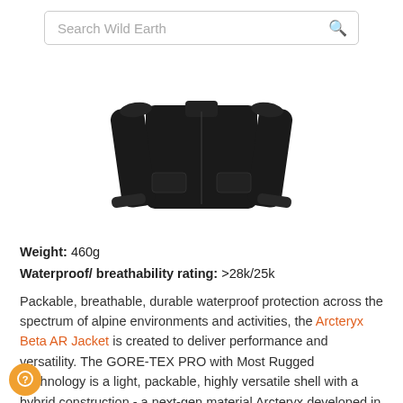Search Wild Earth
[Figure (photo): Black Arc'teryx Beta AR Jacket product photo, front view, showing long sleeves and hand pockets on a white background.]
Weight: 460g
Waterproof/ breathability rating: >28k/25k
Packable, breathable, durable waterproof protection across the spectrum of alpine environments and activities, the Arcteryx Beta AR Jacket is created to deliver performance and versatility. The GORE-TEX PRO with Most Rugged Technology is a light, packable, highly versatile shell with a hybrid construction - a next-gen material Arcteryx developed in collaboration with Gore - delivering maximum durability. The helmet compatible DropHood has an